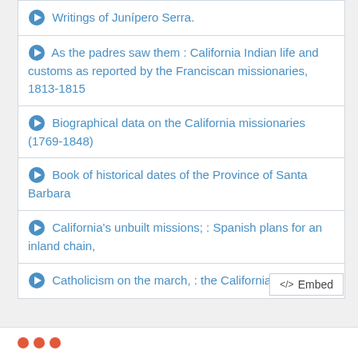Writings of Junípero Serra.
As the padres saw them : California Indian life and customs as reported by the Franciscan missionaries, 1813-1815
Biographical data on the California missionaries (1769-1848)
Book of historical dates of the Province of Santa Barbara
California's unbuilt missions; : Spanish plans for an inland chain,
Catholicism on the march, : the California missions
</> Embed